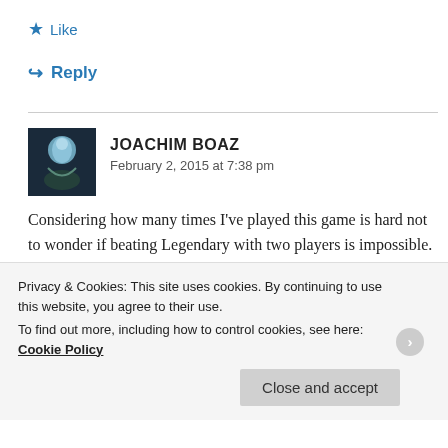★ Like
↪ Reply
JOACHIM BOAZ
February 2, 2015 at 7:38 pm
Considering how many times I've played this game is hard not to wonder if beating Legendary with two players is impossible. My fiancé and I have tried every combination of
Privacy & Cookies: This site uses cookies. By continuing to use this website, you agree to their use.
To find out more, including how to control cookies, see here: Cookie Policy
Close and accept